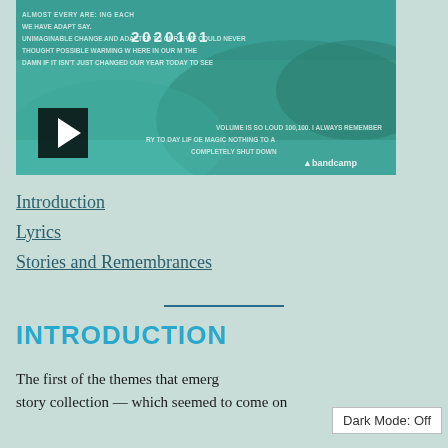[Figure (screenshot): Bandcamp embedded music player with teal/green rocky coast background image, showing album year 2020101, overlaid lyrics text, play button, and bandcamp logo]
Introduction
Lyrics
Stories and Remembrances
INTRODUCTION
The first of the themes that emerg... story collection... which seemed to come on